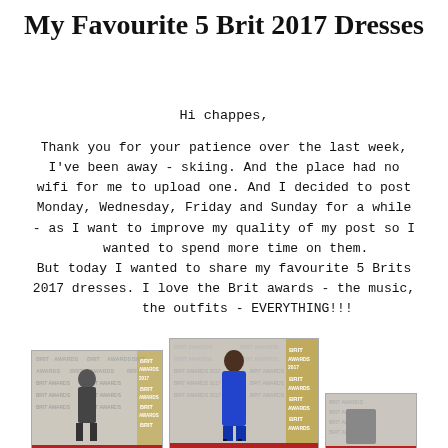My Favourite 5 Brit 2017 Dresses
Hi chappes,
Thank you for your patience over the last week, I've been away - skiing. And the place had no wifi for me to upload one. And I decided to post Monday, Wednesday, Friday and Sunday for a while - as I want to improve my quality of my post so I wanted to spend more time on them.
But today I wanted to share my favourite 5 Brits 2017 dresses. I love the Brit awards - the music, the outfits - EVERYTHING!!!
[Figure (photo): Celebrity in sparkly/dark dress on Brit Awards red carpet]
[Figure (photo): Celebrity in blue jumpsuit on Brit Awards red carpet]
[Figure (photo): Partial celebrity photo on Brit Awards red carpet]